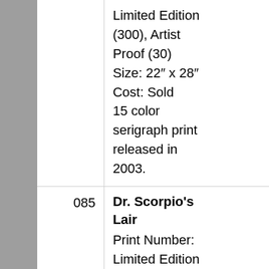| # | Description | Image |
| --- | --- | --- |
|  | Limited Edition (300), Artist Proof (30)
Size: 22” x 28”
Cost: Sold
15 color serigraph print released in 2003. |  |
| 085 | Dr. Scorpio's Lair
Print Number: Limited Edition (300), Artist Proof (35)
Size: 16” x 36”
Cost: Sold | [image] |